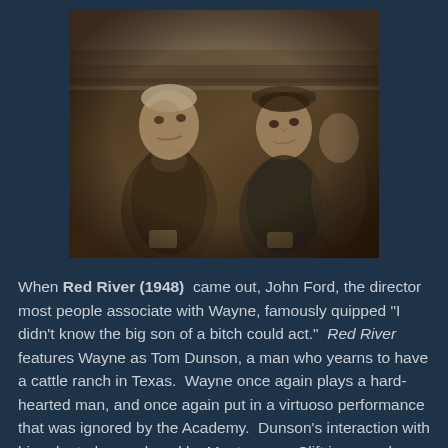[Figure (photo): Black and white / sepia-toned still from the 1948 western film Red River, showing two male actors in cowboy attire seated together, one older with light hair wearing a vest and neckerchief, one younger wearing a cap.]
When Red River (1948) came out, John Ford, the director most people associate with Wayne, famously quipped "I didn't know the big son of a bitch could act." Red River features Wayne as Tom Dunson, a man who yearns to have a cattle ranch in Texas. Wayne once again plays a hard-hearted man, and once again put in a virtuoso performance that was ignored by the Academy. Dunson's interaction with his adopted son, played by Montgomery Clift in an early role, is the stuff of legend. This movie, by the way, is the only